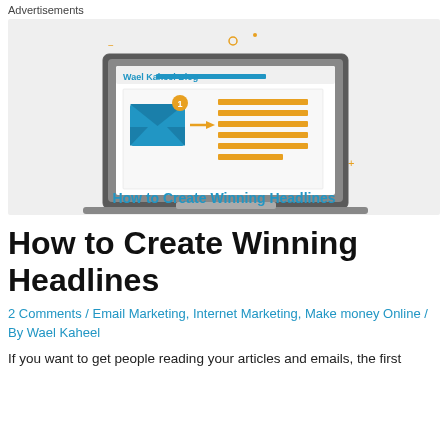Advertisements
[Figure (illustration): Illustration of a laptop showing Wael Kaheel Blog with an email icon with notification badge and an arrow pointing to orange text lines, with decorative orange dots and symbols. Blue bold text at bottom reads 'How to Create Winning Headlines'.]
How to Create Winning Headlines
2 Comments / Email Marketing, Internet Marketing, Make money Online / By Wael Kaheel
If you want to get people reading your articles and emails, the first